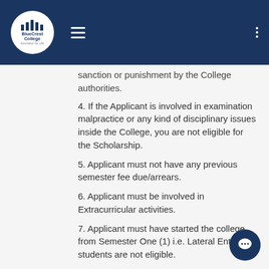BlueCrest College navigation bar
sanction or punishment by the College authorities.
4. If the Applicant is involved in examination malpractice or any kind of disciplinary issues inside the College, you are not eligible for the Scholarship.
5. Applicant must not have any previous semester fee due/arrears.
6. Applicant must be involved in Extracurricular activities.
7. Applicant must have started the college from Semester One (1) i.e. Lateral Entry students are not eligible.
8. Eligible Applicants will be entitled to various percentages of scholarship as per the discretion of the committee.
OTHER NOTICES